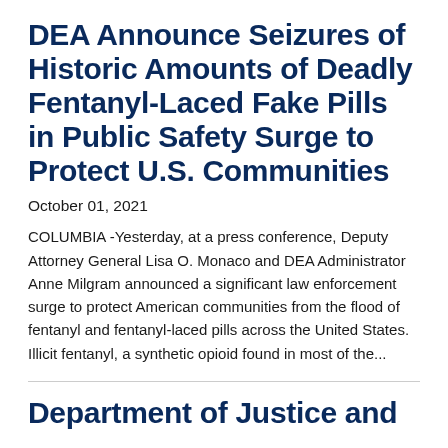DEA Announce Seizures of Historic Amounts of Deadly Fentanyl-Laced Fake Pills in Public Safety Surge to Protect U.S. Communities
October 01, 2021
COLUMBIA -Yesterday, at a press conference, Deputy Attorney General Lisa O. Monaco and DEA Administrator Anne Milgram announced a significant law enforcement surge to protect American communities from the flood of fentanyl and fentanyl-laced pills across the United States. Illicit fentanyl, a synthetic opioid found in most of the...
Department of Justice and